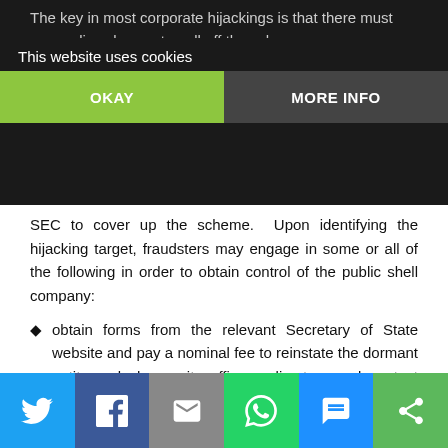The key in most corporate hijackings is that there must be a complices lawyer to pull off the scheme. [partial text obscured by banner] ...name changes, corporate ...documents to make and the SEC to cover up the scheme. Upon identifying the hijacking target, fraudsters may engage in some or all of the following in order to obtain control of the public shell company:
This website uses cookies
OKAY
MORE INFO
obtain forms from the relevant Secretary of State website and pay a nominal fee to reinstate the dormant entity and change its officers, directors and contact information to that of the hijacker or its nominees;
file a state custodianship or receivership action where the entity is formed using pleadings that falsely state among other things, that a custodian or receiver selected